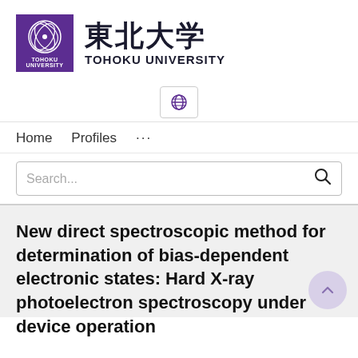[Figure (logo): Tohoku University logo: purple square with white circular emblem and TOHOKU UNIVERSITY text, followed by Japanese kanji 東北大学 and TOHOKU UNIVERSITY in English]
[Figure (other): Globe/language selector icon button]
Home   Profiles   ...
Search...
New direct spectroscopic method for determination of bias-dependent electronic states: Hard X-ray photoelectron spectroscopy under device operation